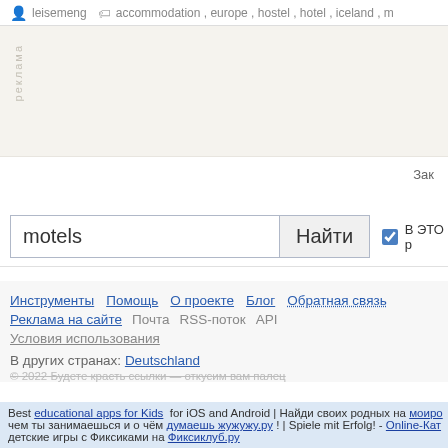leisemeng  accommodation, europe, hostel, hotel, iceland, m
[Figure (screenshot): Advertisement block with light beige background and vertical 'реклама' label]
Зак
motels  Найти  В ЭТОМ р
Инструменты  Помощь  О проекте  Блог  Обратная связь
Реклама на сайте  Почта  RSS-поток  API
Условия использования
В других странах: Deutschland
© 2022 Будете красть ссылки — откусим вам палец
Best educational apps for Kids  for iOS and Android | Найди своих родных на моиро чем ты занимаешься и о чём думаешь жужужу.ру ! | Spiele mit Erfolg! - Online-Kat детские игры с Фиксиками на Фиксиклуб.ру